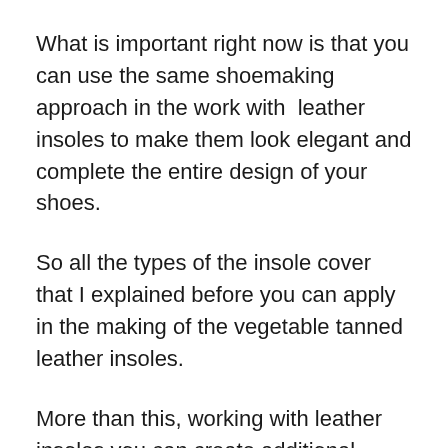What is important right now is that you can use the same shoemaking approach in the work with  leather insoles to make them look elegant and complete the entire design of your shoes.
So all the types of the insole cover that I explained before you can apply in the making of the vegetable tanned leather insoles.
More than this, working with leather insoles you can create additional comfort for your arch zone by adding extra support to this place on your feet.